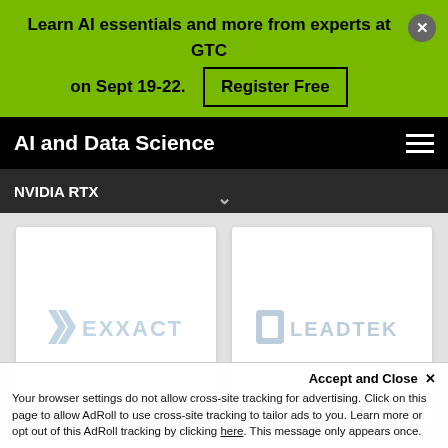Learn AI essentials and more from experts at GTC on Sept 19-22.  Register Free  ×
AI and Data Science
NVIDIA RTX
[Figure (logo): Exxact company logo in light blue/grey on white card background]
[Figure (logo): Leadtek company logo in light blue/grey on white card background]
Accept and Close ×
Your browser settings do not allow cross-site tracking for advertising. Click on this page to allow AdRoll to use cross-site tracking to tailor ads to you. Learn more or opt out of this AdRoll tracking by clicking here. This message only appears once.